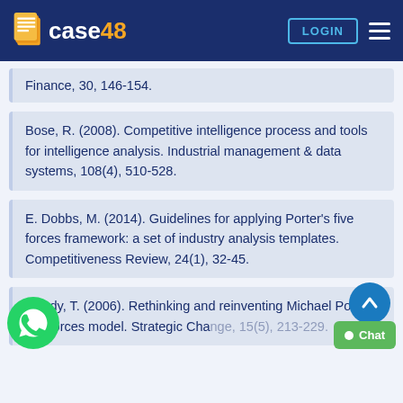case48 LOGIN
Finance, 30, 146-154.
Bose, R. (2008). Competitive intelligence process and tools for intelligence analysis. Industrial management & data systems, 108(4), 510-528.
E. Dobbs, M. (2014). Guidelines for applying Porter's five forces framework: a set of industry analysis templates. Competitiveness Review, 24(1), 32-45.
ndy, T. (2006). Rethinking and reinventing Michael Porter's five forces model. Strategic Change, 15(5), 213-229.